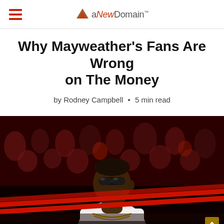aNewDomain
Why Mayweather's Fans Are Wrong on The Money
by Rodney Campbell • 5 min read
[Figure (photo): Floyd Mayweather standing in a boxing ring wearing sunglasses and a white shirt with gold chain, crowd visible in background with red ropes in foreground]